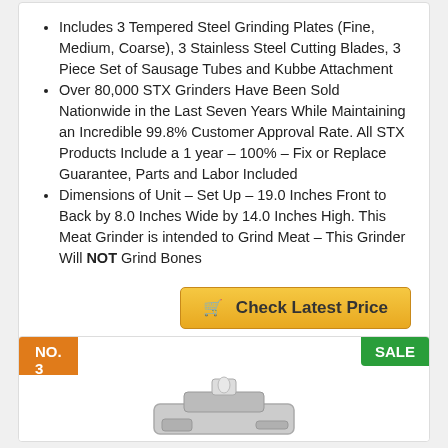Includes 3 Tempered Steel Grinding Plates (Fine, Medium, Coarse), 3 Stainless Steel Cutting Blades, 3 Piece Set of Sausage Tubes and Kubbe Attachment
Over 80,000 STX Grinders Have Been Sold Nationwide in the Last Seven Years While Maintaining an Incredible 99.8% Customer Approval Rate. All STX Products Include a 1 year – 100% – Fix or Replace Guarantee, Parts and Labor Included
Dimensions of Unit – Set Up – 19.0 Inches Front to Back by 8.0 Inches Wide by 14.0 Inches High. This Meat Grinder is intended to Grind Meat – This Grinder Will NOT Grind Bones
Check Latest Price
NO. 3
SALE
[Figure (photo): Partial view of a meat grinder product, silver/stainless steel colored appliance]